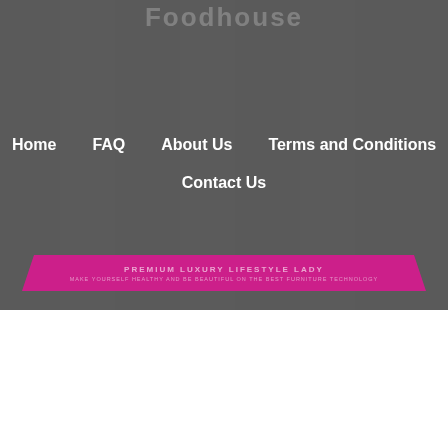Foodhouse
Home
FAQ
About Us
Terms and Conditions
Contact Us
PREMIUM LUXURY LIFESTYLE LADY · MAKE YOURSELF HEALTHY AND BE BEAUTIFUL ON THE BEST FURNITURE TECHNOLOGY